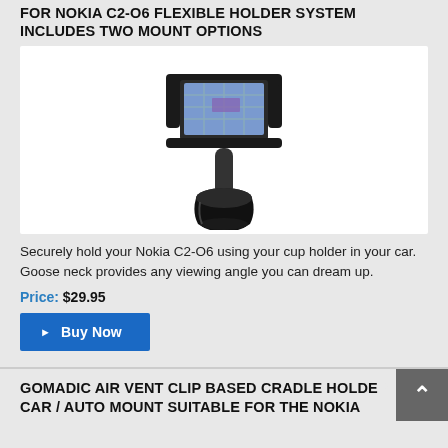FOR NOKIA C2-O6 FLEXIBLE HOLDER SYSTEM INCLUDES TWO MOUNT OPTIONS
[Figure (photo): Photo of a car cup holder mount with a Nokia C2-O6 smartphone in a cradle on top of an adjustable goose neck stem inserted into a circular cup holder base]
Securely hold your Nokia C2-O6 using your cup holder in your car. Goose neck provides any viewing angle you can dream up.
Price: $29.95
▶ Buy Now
GOMADIC AIR VENT CLIP BASED CRADLE HOLDER CAR / AUTO MOUNT SUITABLE FOR THE NOKIA